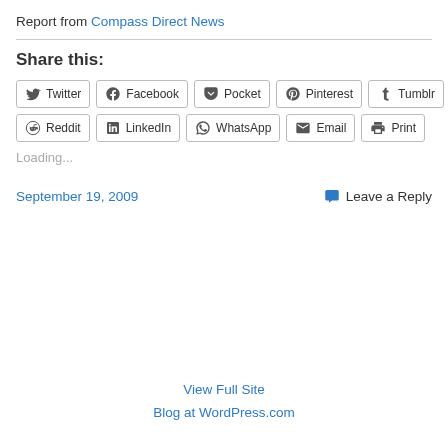Report from Compass Direct News
Share this:
Twitter Facebook Pocket Pinterest Tumblr Reddit LinkedIn WhatsApp Email Print
Loading...
September 19, 2009
Leave a Reply
View Full Site
Blog at WordPress.com